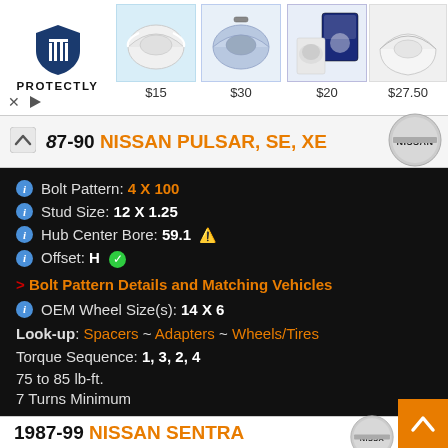[Figure (screenshot): PROTECTLY ad banner with logo and mask product images priced at $15, $30, $20, $27.50]
87-90 NISSAN PULSAR, SE, XE
Bolt Pattern: 4 X 100
Stud Size: 12 X 1.25
Hub Center Bore: 59.1 ⚠
Offset: H ✓
> Bolt Pattern Details and Matching Vehicles
OEM Wheel Size(s): 14 X 6
Look-up: Spacers ~ Adapters ~ Wheels/Tires
Torque Sequence: 1, 3, 2, 4
75 to 85 lb-ft.
7 Turns Minimum
1987-99 NISSAN SENTRA